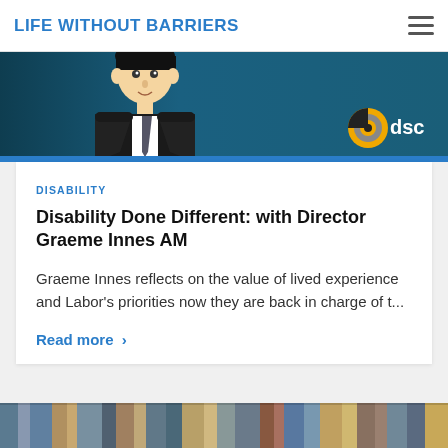LIFE WITHOUT BARRIERS
[Figure (illustration): Cartoon illustration of a person in a suit and tie against a teal/dark background, with the DSC logo (yellow and grey circular logo with text 'dsc') in the bottom right corner.]
DISABILITY
Disability Done Different: with Director Graeme Innes AM
Graeme Innes reflects on the value of lived experience and Labor's priorities now they are back in charge of t...
Read more ›
[Figure (photo): Partial bottom strip showing a row of books on shelves, cropped at the bottom of the page.]